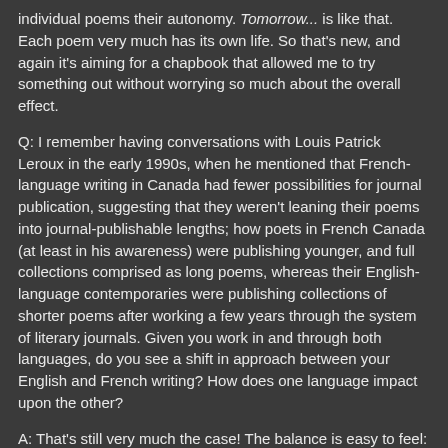individual poems their autonomy. Tomorrow... is like that. Each poem very much has its own life. So that's new, and again it's aiming for a chapbook that allowed me to try something out without worrying so much about the overall effect.
Q: I remember having conversations with Louis Patrick Leroux in the early 1990s, when he mentioned that French-language writing in Canada had fewer possibilities for journal publication, suggesting that they weren't leaning their poems into journal-publishable lengths; how poets in French Canada (at least in his awareness) were publishing younger, and full collections comprised as long poems, whereas their English-language contemporaries were publishing collections of shorter poems after working a few years through the system of literary journals. Given you work in and through both languages, do you see a shift in approach between your English and French writing? How does one language impact upon the other?
A: That's still very much the case! The balance is easy to feel: with Estuaire and Exit being the only two major journals dedicated to poetry on behalf of the French-language...